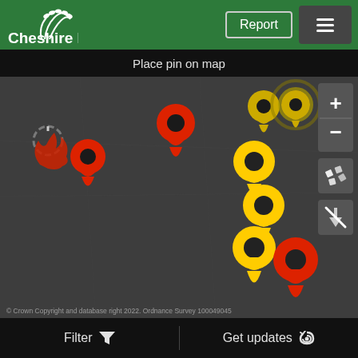[Figure (logo): Cheshire East council logo with wheat/fingerprint graphic and white text on green background]
Report
Place pin on map
[Figure (map): Dark map showing multiple location pins: red pins (active reports) and yellow pins (existing reports/updates), with cluster of 3 yellow pins in center-right area, one red pin top-center, one red pin bottom-right, red cluster on left side. Map controls (zoom +/-, satellite, GPS) on right edge.]
© Crown Copyright and database right 2022. Ordnance Survey 100049045
Filter
Get updates